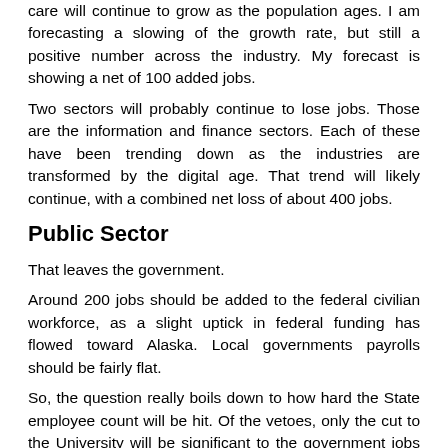care will continue to grow as the population ages. I am forecasting a slowing of the growth rate, but still a positive number across the industry. My forecast is showing a net of 100 added jobs.
Two sectors will probably continue to lose jobs. Those are the information and finance sectors. Each of these have been trending down as the industries are transformed by the digital age. That trend will likely continue, with a combined net loss of about 400 jobs.
Public Sector
That leaves the government.
Around 200 jobs should be added to the federal civilian workforce, as a slight uptick in federal funding has flowed toward Alaska. Local governments payrolls should be fairly flat.
So, the question really boils down to how hard the State employee count will be hit. Of the vetoes, only the cut to the University will be significant to the government jobs total. The other vetoes are likely to be more impactful at the micro level than will be observed in the macroeconomic data.
For example, school debt reimbursement will likely result